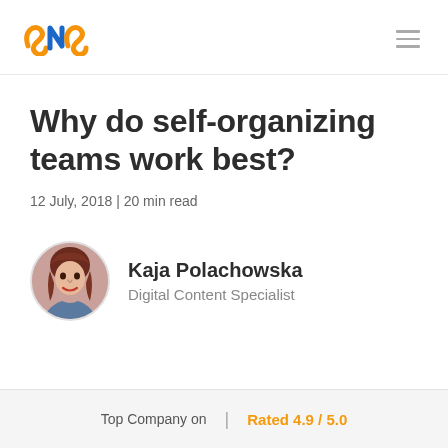SNS logo and navigation menu
Why do self-organizing teams work best?
12 July, 2018 | 20 min read
[Figure (photo): Circular avatar photo of author Kaja Polachowska, a woman with red hair]
Kaja Polachowska
Digital Content Specialist
Top Company on  |  Rated 4.9 / 5.0